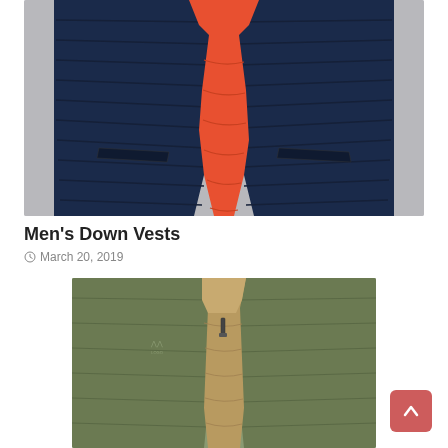[Figure (photo): A navy blue quilted/puffer sleeveless vest (down vest) open at the front, revealing a bright orange/red interior lining. The vest has zip pockets. Photographed against a light gray background.]
Men's Down Vests
March 20, 2019
[Figure (photo): An olive/army green sleeveless vest open at the front, revealing a tan/brown faux fur interior lining. The vest has a zipper and a small logo on the chest. Cropped view showing the torso area.]